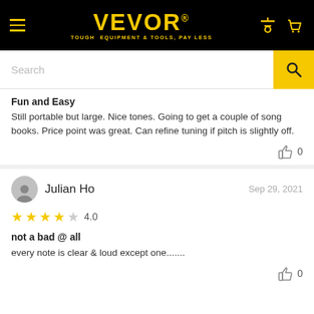VEVOR® — TOUGH EQUIPMENT & TOOLS, PAY LESS
Fun and Easy
Still portable but large. Nice tones. Going to get a couple of song books. Price point was great. Can refine tuning if pitch is slightly off.
Julian Ho   Sep 29, 2021   ★★★★☆ 4.0
not a bad @ all
every note is clear & loud except one.......